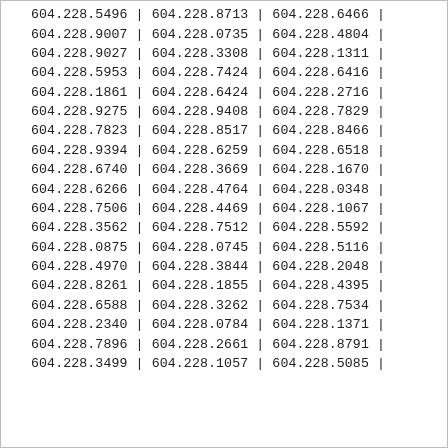| 604.228.5496 | | | 604.228.8713 | | | 604.228.6466 | | |
| 604.228.9007 | | | 604.228.0735 | | | 604.228.4804 | | |
| 604.228.9027 | | | 604.228.3308 | | | 604.228.1311 | | |
| 604.228.5953 | | | 604.228.7424 | | | 604.228.6416 | | |
| 604.228.1861 | | | 604.228.6424 | | | 604.228.2716 | | |
| 604.228.9275 | | | 604.228.9408 | | | 604.228.7829 | | |
| 604.228.7823 | | | 604.228.8517 | | | 604.228.8466 | | |
| 604.228.9394 | | | 604.228.6259 | | | 604.228.6518 | | |
| 604.228.6740 | | | 604.228.3669 | | | 604.228.1670 | | |
| 604.228.6266 | | | 604.228.4764 | | | 604.228.0348 | | |
| 604.228.7506 | | | 604.228.4469 | | | 604.228.1067 | | |
| 604.228.3562 | | | 604.228.7512 | | | 604.228.5592 | | |
| 604.228.0875 | | | 604.228.0745 | | | 604.228.5116 | | |
| 604.228.4970 | | | 604.228.3844 | | | 604.228.2048 | | |
| 604.228.8261 | | | 604.228.1855 | | | 604.228.4395 | | |
| 604.228.6588 | | | 604.228.3262 | | | 604.228.7534 | | |
| 604.228.2340 | | | 604.228.0784 | | | 604.228.1371 | | |
| 604.228.7896 | | | 604.228.2661 | | | 604.228.8791 | | |
| 604.228.3499 | | | 604.228.1057 | | | 604.228.5085 | | |